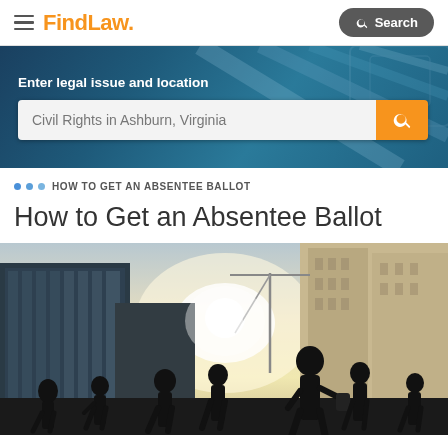FindLaw. Search
[Figure (screenshot): Hero banner with blue geometric background showing 'Enter legal issue and location' label and search bar with placeholder 'Civil Rights in Ashburn, Virginia']
HOW TO GET AN ABSENTEE BALLOT
How to Get an Absentee Ballot
[Figure (photo): Silhouettes of people walking in a city with tall buildings and bright sunlight in the background]